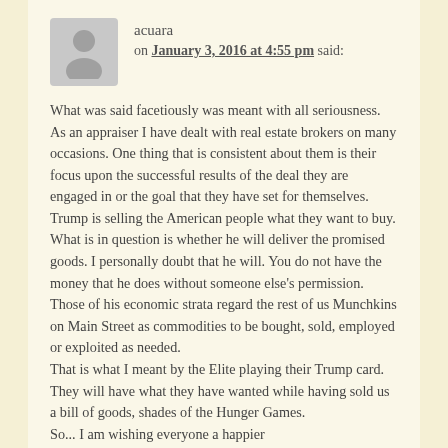acuara
on January 3, 2016 at 4:55 pm said:
What was said facetiously was meant with all seriousness. As an appraiser I have dealt with real estate brokers on many occasions. One thing that is consistent about them is their focus upon the successful results of the deal they are engaged in or the goal that they have set for themselves.
Trump is selling the American people what they want to buy. What is in question is whether he will deliver the promised goods. I personally doubt that he will. You do not have the money that he does without someone else's permission. Those of his economic strata regard the rest of us Munchkins on Main Street as commodities to be bought, sold, employed or exploited as needed.
That is what I meant by the Elite playing their Trump card. They will have what they have wanted while having sold us a bill of goods, shades of the Hunger Games.
So... I am wishing everyone a happier...